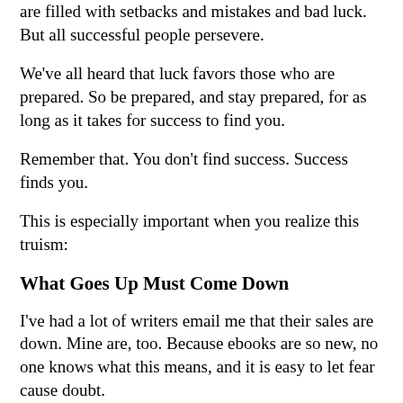are filled with setbacks and mistakes and bad luck. But all successful people persevere.
We've all heard that luck favors those who are prepared. So be prepared, and stay prepared, for as long as it takes for success to find you.
Remember that. You don't find success. Success finds you.
This is especially important when you realize this truism:
What Goes Up Must Come Down
I've had a lot of writers email me that their sales are down. Mine are, too. Because ebooks are so new, no one knows what this means, and it is easy to let fear cause doubt.
Here's a mantra for you to help you get over it.
1. Ebooks are forever, and shelf space is infinite. Once you're published, you'll always be selling.